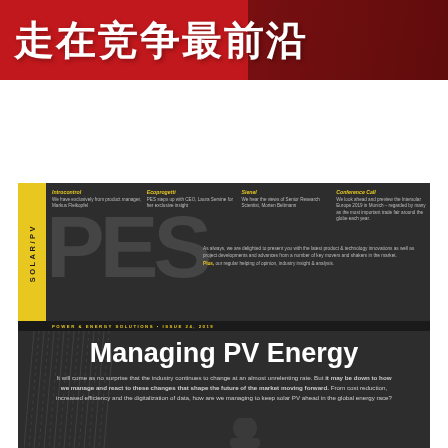走在竞争最前沿
[Figure (illustration): Red banner background with Chinese title overlay, magazine cover style]
[Figure (illustration): Dark magazine cover card for PES Solar/PV Power & Energy Solutions Issue 24 2019, featuring large PES letters, section teasers (Introcontrol, Ecoprogetti, Sienel, Conference Call), Managing PV Energy headline, and descriptive body text about industry changes and solar PV management.]